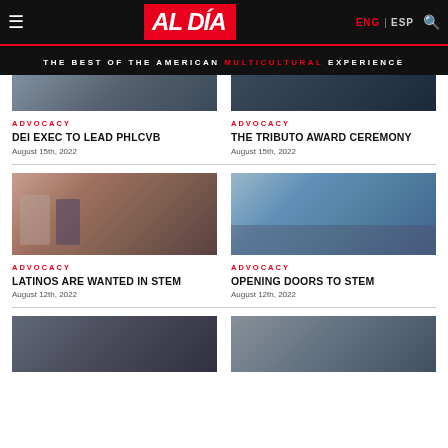AL DÍA — ENG | ESP — THE BEST OF THE AMERICAN MULTICULTURAL EXPERIENCE
[Figure (photo): Top left article photo]
[Figure (photo): Top right article photo]
ADVOCACY
DEI EXEC TO LEAD PHLCVB
August 15th, 2022
ADVOCACY
THE TRIBUTO AWARD CEREMONY
August 15th, 2022
[Figure (photo): Middle left article photo — panel discussion with microphone]
[Figure (photo): Middle right article photo — group of people standing]
ADVOCACY
LATINOS ARE WANTED IN STEM
August 12th, 2022
ADVOCACY
OPENING DOORS TO STEM
August 12th, 2022
[Figure (photo): Bottom left article photo]
[Figure (photo): Bottom right article photo]